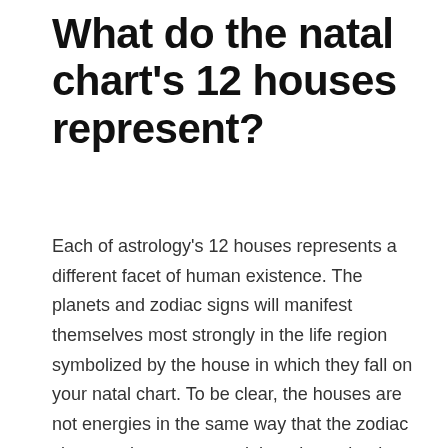What do the natal chart's 12 houses represent?
Each of astrology's 12 houses represents a different facet of human existence. The planets and zodiac signs will manifest themselves most strongly in the life region symbolized by the house in which they fall on your natal chart. To be clear, the houses are not energies in the same way that the zodiac signs or planets are, and they do not lend color to the outflow of energies in the same way that the zodiac signs do. These energies are more likely to manifest in the houses. The houses are simply places of living, not the actual experience.